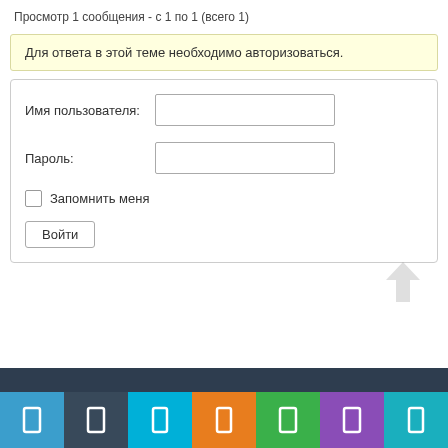Просмотр 1 сообщения - с 1 по 1 (всего 1)
Для ответа в этой теме необходимо авторизоваться.
Имя пользователя: [input field]
Пароль: [input field]
☐ Запомнить меня
Войти